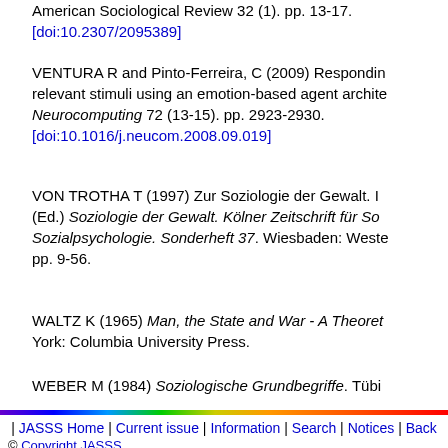American Sociological Review 32 (1). pp. 13-17. [doi:10.2307/2095389]
VENTURA R and Pinto-Ferreira, C (2009) Responding relevant stimuli using an emotion-based agent architecture. Neurocomputing 72 (13-15). pp. 2923-2930. [doi:10.1016/j.neucom.2008.09.019]
VON TROTHA T (1997) Zur Soziologie der Gewalt. In (Ed.) Soziologie der Gewalt. Kölner Zeitschrift für Sozialpsychologie. Sonderheft 37. Wiesbaden: pp. 9-56.
WALTZ K (1965) Man, the State and War - A Theoretical Analysis. New York: Columbia University Press.
WEBER M (1984) Soziologische Grundbegriffe. Tübingen:
| JASSS Home | Current issue | Information | Search | Notices | Back
© Copyright JASSS